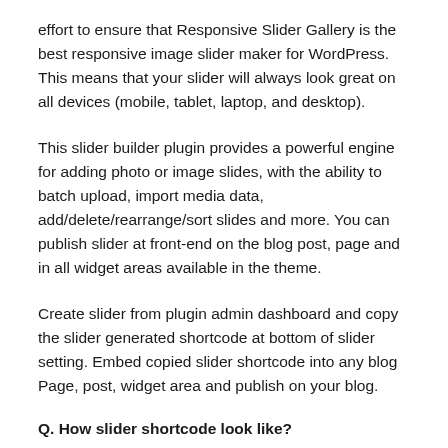effort to ensure that Responsive Slider Gallery is the best responsive image slider maker for WordPress. This means that your slider will always look great on all devices (mobile, tablet, laptop, and desktop).
This slider builder plugin provides a powerful engine for adding photo or image slides, with the ability to batch upload, import media data, add/delete/rearrange/sort slides and more. You can publish slider at front-end on the blog post, page and in all widget areas available in the theme.
Create slider from plugin admin dashboard and copy the slider generated shortcode at bottom of slider setting. Embed copied slider shortcode into any blog Page, post, widget area and publish on your blog.
Q. How slider shortcode look like?